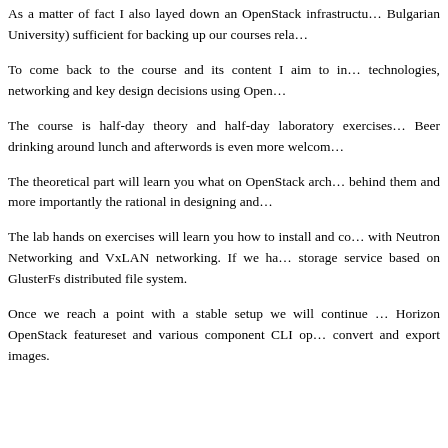As a matter of fact I also layed down an OpenStack infrastructure (at Bulgarian University) sufficient for backing up our courses rela…
To come back to the course and its content I aim to in… technologies, networking and key design decisions using Open…
The course is half-day theory and half-day laboratory exercises… Beer drinking around lunch and afterwords is even more welcom…
The theoretical part will learn you what on OpenStack arch… behind them and more importantly the rational in designing and…
The lab hands on exercises will learn you how to install and co… with Neutron Networking and VxLAN networking. If we ha… storage service based on GlusterFs distributed file system.
Once we reach a point with a stable setup we will continue … Horizon OpenStack featureset and various component CLI op… convert and export images.